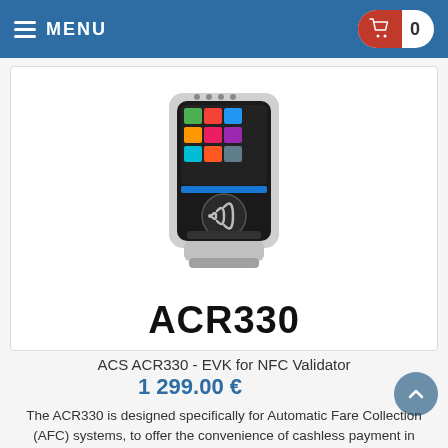≡ MENU  🛒 0
[Figure (photo): ACR330 NFC Validator device — a black and white card reader terminal with colorful touchscreen display and contactless payment symbol, shown at an angle. Text 'ACR330' in large bold letters below the device image.]
ACS ACR330 - EVK for NFC Validator
1 299.00 €
The ACR330 is designed specifically for Automatic Fare Collection (AFC) systems, to offer the convenience of cashless payment in buses, ferries, trams, railways and other transportation modes.